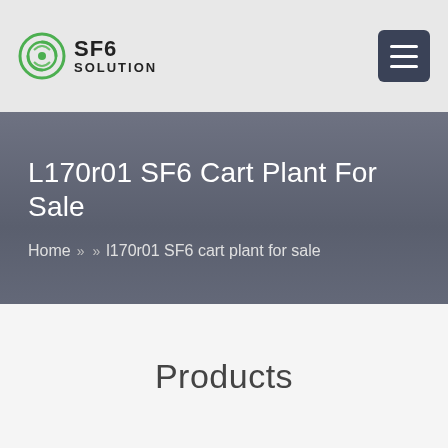SF6 SOLUTION
L170r01 SF6 Cart Plant For Sale
Home >> >> l170r01 SF6 cart plant for sale
Products